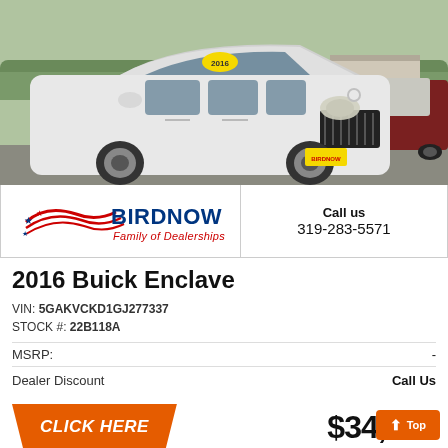[Figure (photo): White 2016 Buick Enclave SUV parked in a dealership lot, front three-quarter view, with yellow year sticker on windshield. Other vehicles visible in background.]
[Figure (logo): Birdnow Family of Dealerships logo with red/blue eagle and text]
Call us
319-283-5571
2016 Buick Enclave
VIN: 5GAKVCKD1GJ277337
STOCK #: 22B118A
MSRP:   -
Dealer Discount   Call Us
CLICK HERE
$34,000